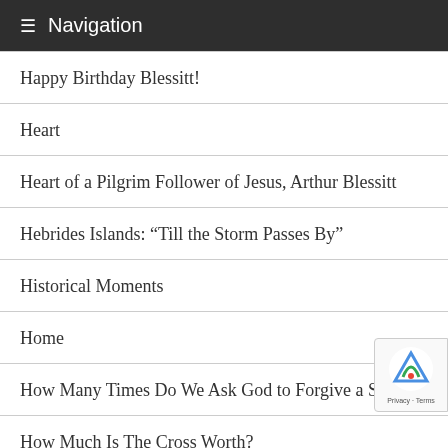≡ Navigation
Happy Birthday Blessitt!
Heart
Heart of a Pilgrim Follower of Jesus, Arthur Blessitt
Hebrides Islands: “Till the Storm Passes By”
Historical Moments
Home
How Many Times Do We Ask God to Forgive a Sin?
How Much Is The Cross Worth?